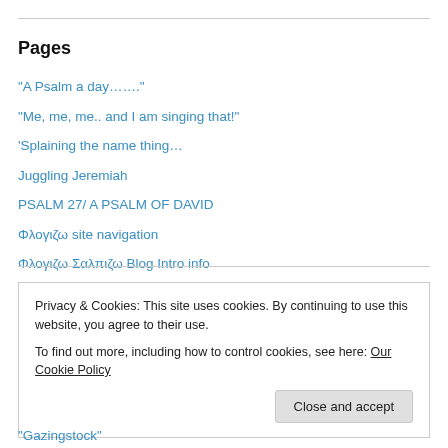Pages
“A Psalm a day…….”
“Me, me, me.. and I am singing that!”
‘Splaining the name thing…
Juggling Jeremiah
PSALM 27/ A PSALM OF DAVID
Φλογιζω site navigation
Φλογιζω Σαλπιζω Blog Intro info
Privacy & Cookies: This site uses cookies. By continuing to use this website, you agree to their use.
To find out more, including how to control cookies, see here: Our Cookie Policy
Close and accept
“Gazingstock”